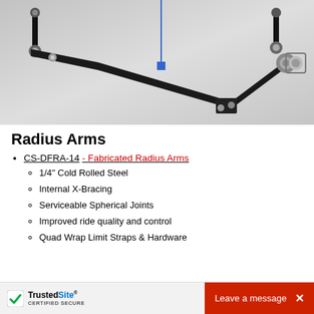[Figure (photo): Black fabricated radius arms assembly with spherical joints on both ends, shown against a light gray background. A vertical measurement line with a blue square indicator is visible in the upper center.]
Radius Arms
CS-DFRA-14 - Fabricated Radius Arms
1/4" Cold Rolled Steel
Internal X-Bracing
Serviceable Spherical Joints
Improved ride quality and control
Quad Wrap Limit Straps & Hardware
TrustedSite CERTIFIED SECURE | Leave a message